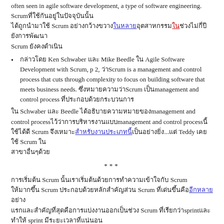often seen in agile software development, a type of software engineering. Scrum[Thai text] Scrum [blue link][red link][Thai text] Scrum [Thai text]
[Thai] Ken Schwaber และ Mike Beedle ใน Agile Software Development with Scrum, p 2, ว่าScrum is a management and control process that cuts through complexity to focus on building software that meets business needs. [Thai text]Scrum [Thai]management and control process [Thai text]
ใน Schwaber และ Beedle [Thai]management and control process[Thai]management and control process[Thai] Scrum [Thai][blue link][Thai]...ใน Teddy [Thai] Scrum ใน [Thai]
***
[Thai] Scrum [Thai] Scrum [Thai] Scrum [Thai][blue link][Thai] Scrum [Thai]sprint[Thai] sprint [Thai]